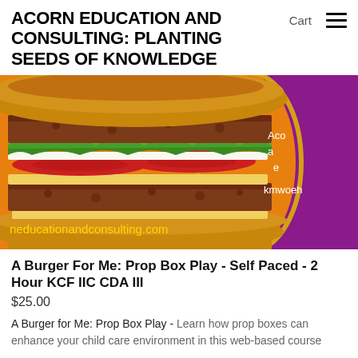ACORN EDUCATION AND CONSULTING: PLANTING SEEDS OF KNOWLEDGE
Cart
[Figure (photo): A close-up photo of a large double burger with lettuce, tomato, cheese and two meat patties on an orange background. The right portion shows a purple/magenta panel with partial white and yellow text. The website URL 'neducationandconsulting.com' appears in yellow text at the bottom left of the image. Partial text 'Aco', 'a', 'e', 'kmwoeh' visible on purple section.]
A Burger For Me: Prop Box Play - Self Paced - 2 Hour KCF IIC CDA III
$25.00
A Burger for Me: Prop Box Play - Learn how prop boxes can enhance your child care environment in this web-based course